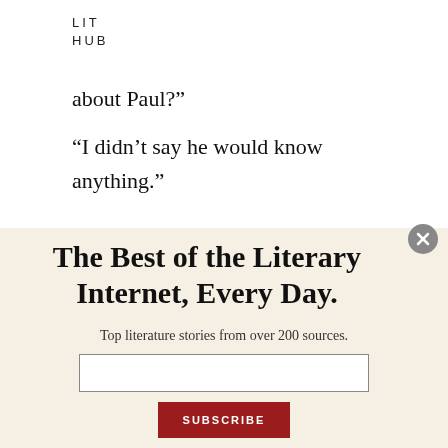LIT
HUB
about Paul?”
“I didn’t say he would know anything.”
“Well, what is it then? What connection they have?”
The Best of the Literary Internet, Every Day.
Top literature stories from over 200 sources.
SUBSCRIBE